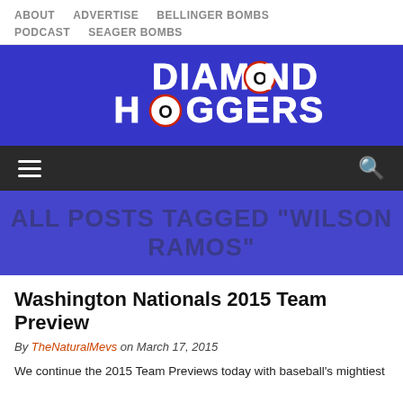ABOUT   ADVERTISE   BELLINGER BOMBS   PODCAST   SEAGER BOMBS
[Figure (logo): Diamond Hoggers website logo — white stylized text on blue background with baseball imagery]
hamburger menu and search icon toolbar
ALL POSTS TAGGED "WILSON RAMOS"
Washington Nationals 2015 Team Preview
By TheNaturalMevs on March 17, 2015
We continue the 2015 Team Previews today with baseball's mightiest